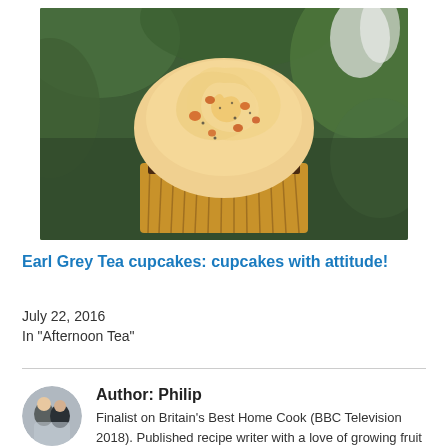[Figure (photo): Close-up photo of a cupcake with swirled cream frosting and small decorative toppings, against a green leafy background with a white flower.]
Earl Grey Tea cupcakes: cupcakes with attitude!
July 22, 2016
In "Afternoon Tea"
Author: Philip
Finalist on Britain's Best Home Cook (BBC Television 2018). Published recipe writer with a love of growing fruit & veg, cooking, teaching and eating good food.